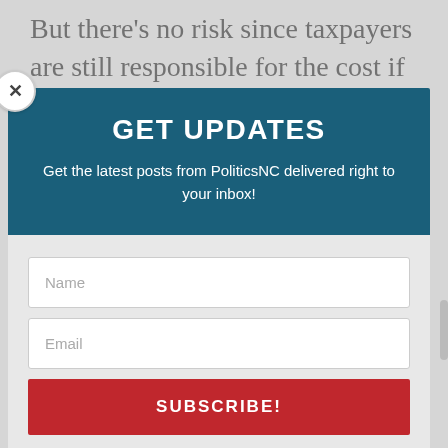But there's no risk since taxpayers are still responsible for the cost if revenues fall short. Essentially, the scheme is privatizing our
GET UPDATES
Get the latest posts from PoliticsNC delivered right to your inbox!
Name
Email
SUBSCRIBE!